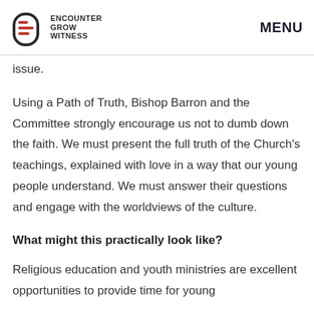ENCOUNTER GROW WITNESS | MENU
issue.
Using a Path of Truth, Bishop Barron and the Committee strongly encourage us not to dumb down the faith. We must present the full truth of the Church's teachings, explained with love in a way that our young people understand. We must answer their questions and engage with the worldviews of the culture.
What might this practically look like?
Religious education and youth ministries are excellent opportunities to provide time for young